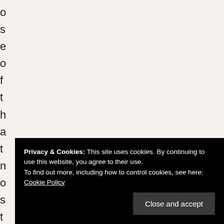o
s
e
o
f
t
h
a
t
n
o
s
t
a
l
g
i
a
t
Privacy & Cookies: This site uses cookies. By continuing to use this website, you agree to their use.
To find out more, including how to control cookies, see here: Cookie Policy
Close and accept